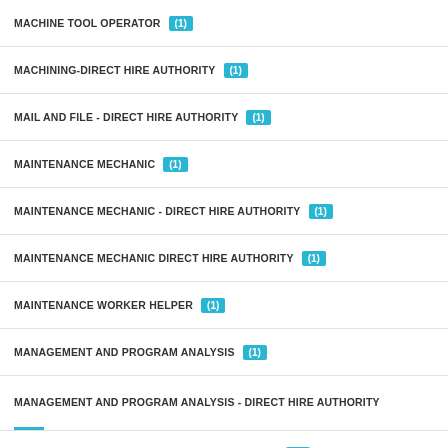MACHINE TOOL OPERATOR (1)
MACHINING-DIRECT HIRE AUTHORITY (1)
MAIL AND FILE - DIRECT HIRE AUTHORITY (1)
MAINTENANCE MECHANIC (1)
MAINTENANCE MECHANIC - DIRECT HIRE AUTHORITY (1)
MAINTENANCE MECHANIC DIRECT HIRE AUTHORITY (1)
MAINTENANCE WORKER HELPER (1)
MANAGEMENT AND PROGRAM ANALYSIS (1)
MANAGEMENT AND PROGRAM ANALYSIS - DIRECT HIRE AUTHORITY
MANAGEMENT AND PROGRAM ANALYSIS SERIES (1)
MANAGEMENT AND PROGRAM ANALYST (1)
MANAGEMENT AND PROGRAM CLERICAL AND ASSISTANT - DIRECT HIRE AUTHORITY
MARINE MACHINERY MECHANIC LEADER (1)